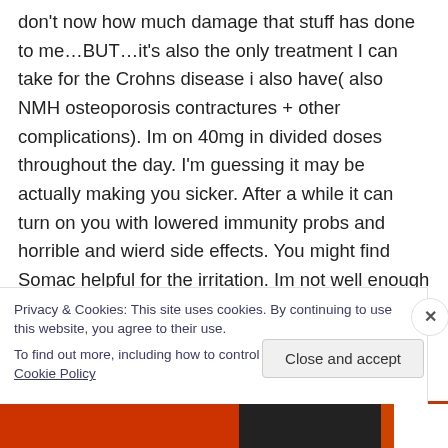don't now how much damage that stuff has done to me…BUT…it's also the only treatment I can take for the Crohns disease i also have( also NMH osteoporosis contractures + other complications). Im on 40mg in divided doses throughout the day. I'm guessing it may be actually making you sicker. After a while it can turn on you with lowered immunity probs and horrible and wierd side effects. You might find Somac helpful for the irritation. Im not well enough to type much more now but will try to
Privacy & Cookies: This site uses cookies. By continuing to use this website, you agree to their use.
To find out more, including how to control cookies, see here: Cookie Policy
Close and accept